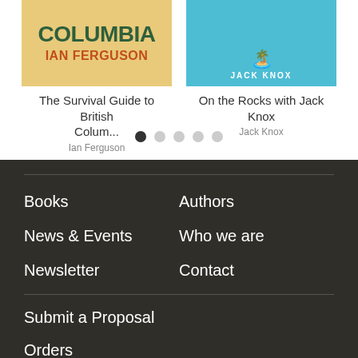[Figure (illustration): Book cover for 'The Survival Guide to British Columbia' by Ian Ferguson - yellow/tan background with COLUMBIA in dark green and IAN FERGUSON in orange]
The Survival Guide to British Colum...
Ian Ferguson
[Figure (illustration): Book cover for 'On the Rocks with Jack Knox' - teal/cyan background with island illustration and JACK KNOX in white letters]
On the Rocks with Jack Knox
Jack Knox
Books
Authors
News & Events
Who we are
Newsletter
Contact
Submit a Proposal
Orders
Catalogues